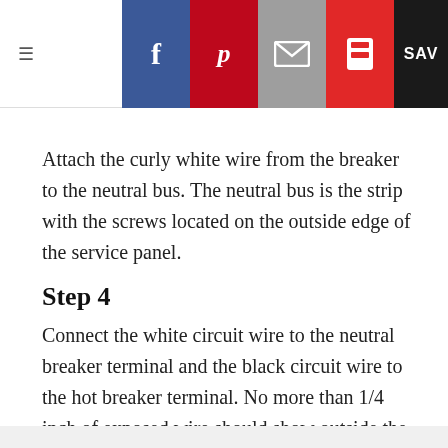Navigation header with hamburger menu, back arrow, and social share buttons (Facebook, Pinterest, Email, Flipboard, Save)
Attach the curly white wire from the breaker to the neutral bus. The neutral bus is the strip with the screws located on the outside edge of the service panel.
Step 4
Connect the white circuit wire to the neutral breaker terminal and the black circuit wire to the hot breaker terminal. No more than 1/4 inch of exposed wire should show outside the breaker.
Advertisement